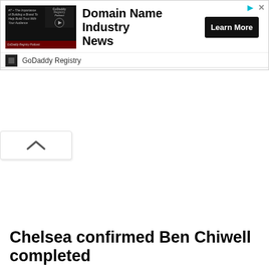[Figure (screenshot): Advertisement banner for GoDaddy Registry - Domain Name Industry News podcast with Learn More button]
Domain Name Industry News
GoDaddy Registry
Chelsea confirmed Ben Chiwell completed